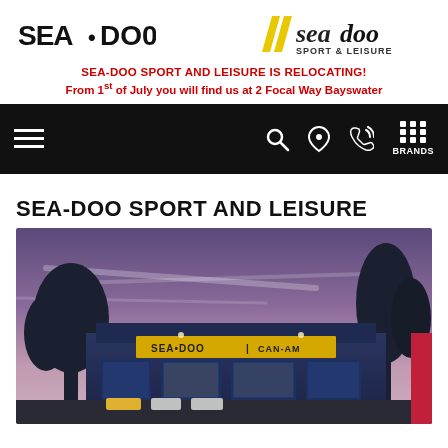[Figure (logo): Sea-Doo logo (left) and Sea-Doo Sport & Leisure logo (right) in header]
SEA-DOO SPORT AND LEISURE IS RELOCATING! From 1st of July you will find us at 2 Focal Way Bayswater
[Figure (screenshot): Black navigation bar with hamburger menu on left, search/location/phone icons and BRANDS grid icon on right]
SEA-DOO SPORT AND LEISURE
[Figure (photo): Exterior photo of the Sea-Doo and Can-Am dealership building at dusk with purple/blue sky and trees]